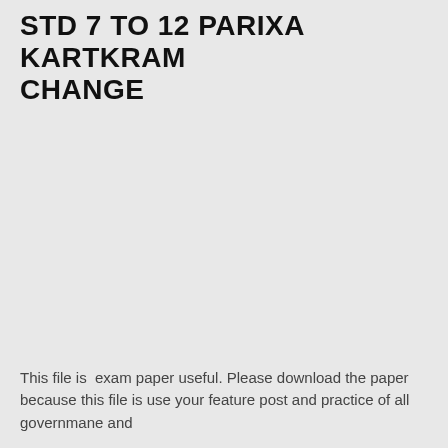STD 7 TO 12 PARIXA KARTKRAM CHANGE
This file is  exam paper useful. Please download the paper because this file is use your feature post and practice of all governmane and